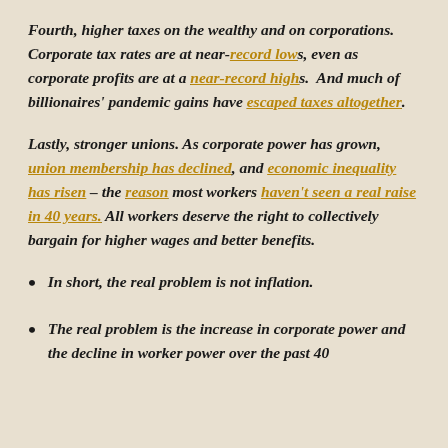Fourth, higher taxes on the wealthy and on corporations. Corporate tax rates are at near-record lows, even as corporate profits are at a near-record highs. And much of billionaires' pandemic gains have escaped taxes altogether.
Lastly, stronger unions. As corporate power has grown, union membership has declined, and economic inequality has risen – the reason most workers haven't seen a real raise in 40 years. All workers deserve the right to collectively bargain for higher wages and better benefits.
In short, the real problem is not inflation.
The real problem is the increase in corporate power and the decline in worker power over the past 40